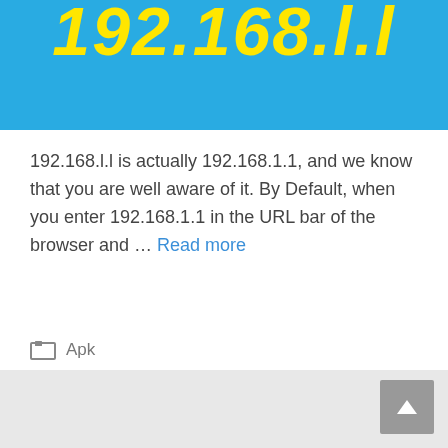[Figure (other): Blue banner with large bold italic yellow text reading '192.168.l.l' on a sky blue background]
192.168.l.l is actually 192.168.1.1, and we know that you are well aware of it. By Default, when you enter 192.168.1.1 in the URL bar of the browser and … Read more
Apk
3 Comments